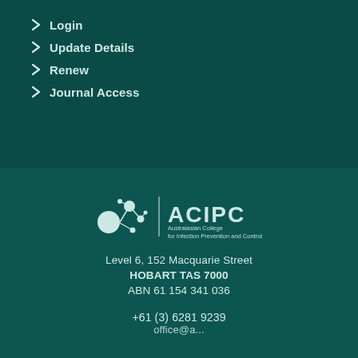Login
Update Details
Renew
Journal Access
[Figure (logo): ACIPC logo — Australasian College for Infection Prevention and Control — featuring network node graphic left of a vertical divider and text ACIPC with full name below]
Level 6, 152 Macquarie Street
HOBART TAS 7000
ABN 61 154 341 036
+61 (3) 6281 9239
office@a...